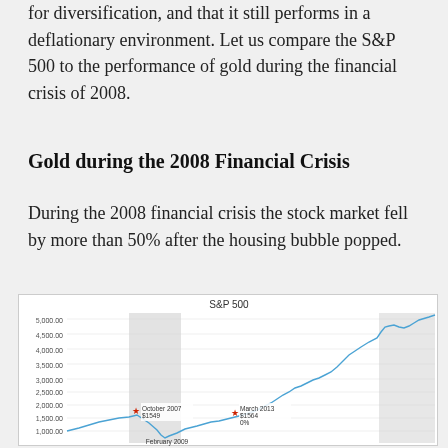for diversification, and that it still performs in a deflationary environment. Let us compare the S&P 500 to the performance of gold during the financial crisis of 2008.
Gold during the 2008 Financial Crisis
During the 2008 financial crisis the stock market fell by more than 50% after the housing bubble popped.
[Figure (line-chart): Line chart of S&P 500 from approximately 2004 to 2020, showing the 2008 financial crisis drop from ~$1549 (October 2007) to a low in February 2009, recovery to ~$1564 (March 2013), then strong upward trend to ~4500-5000 range. A gray shaded region marks the crisis period. Two red star markers annotate October 2007 at $1549 and March 2013 at $1564 (0%).]